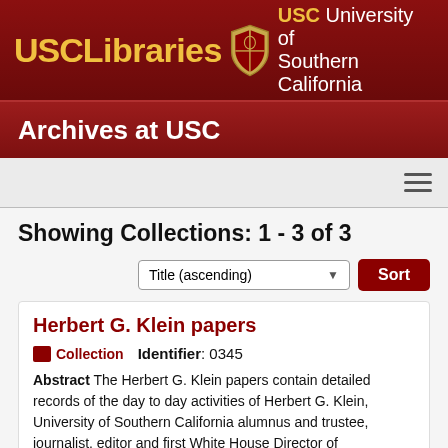USC Libraries USC University of Southern California
Archives at USC
Showing Collections: 1 - 3 of 3
Title (ascending) Sort
Herbert G. Klein papers Collection Identifier: 0345
Abstract The Herbert G. Klein papers contain detailed records of the day to day activities of Herbert G. Klein, University of Southern California alumnus and trustee, journalist, editor and first White House Director of Communications, to include documents and